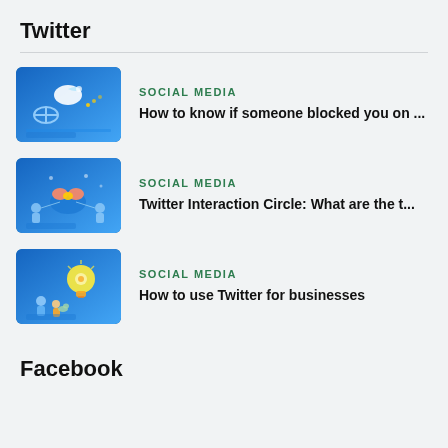Twitter
[Figure (illustration): Blue background illustration with social media / Twitter themed graphic showing bird and satellite dish elements]
SOCIAL MEDIA
How to know if someone blocked you on ...
[Figure (illustration): Blue background illustration with social media network / interaction themed graphic showing people and connections]
SOCIAL MEDIA
Twitter Interaction Circle: What are the t...
[Figure (illustration): Blue background illustration with business / Twitter usage themed graphic showing people and lightbulb]
SOCIAL MEDIA
How to use Twitter for businesses
Facebook